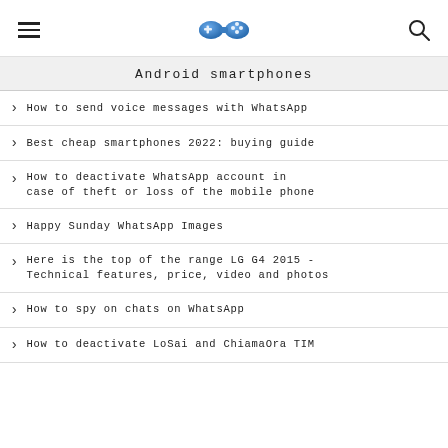Menu | Logo | Search
Android smartphones
How to send voice messages with WhatsApp
Best cheap smartphones 2022: buying guide
How to deactivate WhatsApp account in case of theft or loss of the mobile phone
Happy Sunday WhatsApp Images
Here is the top of the range LG G4 2015 - Technical features, price, video and photos
How to spy on chats on WhatsApp
How to deactivate LoSai and ChiamaOra TIM